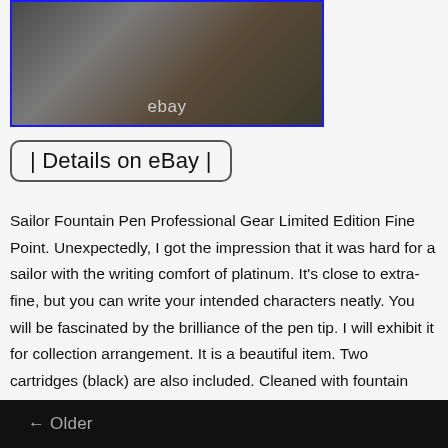[Figure (photo): Photo of fountain pen items on wooden surface with blue border, showing 'ebay' watermark label]
Details on eBay
Sailor Fountain Pen Professional Gear Limited Edition Fine Point. Unexpectedly, I got the impression that it was hard for a sailor with the writing comfort of platinum. It's close to extra-fine, but you can write your intended characters neatly. You will be fascinated by the brilliance of the pen tip. I will exhibit it for collection arrangement. It is a beautiful item. Two cartridges (black) are also included. Cleaned with fountain pen ink cleaner. A limited edition of 1,500 pieces that once again conveys the charm of the 21-karat gold nib in a memorable year. A 21-karat gold nib made possible by Sailor Fountain Pen's
← Older